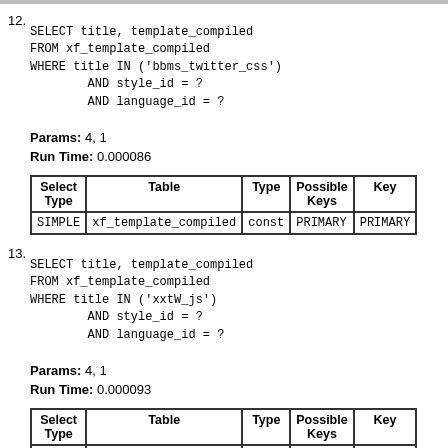12. SELECT title, template_compiled
    FROM xf_template_compiled
    WHERE title IN ('bbms_twitter_css')
            AND style_id = ?
            AND language_id = ?

    Params: 4, 1
    Run Time: 0.000086
| Select Type | Table | Type | Possible Keys | Key |
| --- | --- | --- | --- | --- |
| SIMPLE | xf_template_compiled | const | PRIMARY | PRIMARY |
13. SELECT title, template_compiled
    FROM xf_template_compiled
    WHERE title IN ('xxtW_js')
            AND style_id = ?
            AND language_id = ?

    Params: 4, 1
    Run Time: 0.000093
| Select Type | Table | Type | Possible Keys | Key |
| --- | --- | --- | --- | --- |
| SIMPLE | xf_template_compiled | const | PRIMARY | PRIMARY |
14. SELECT title, template_compiled